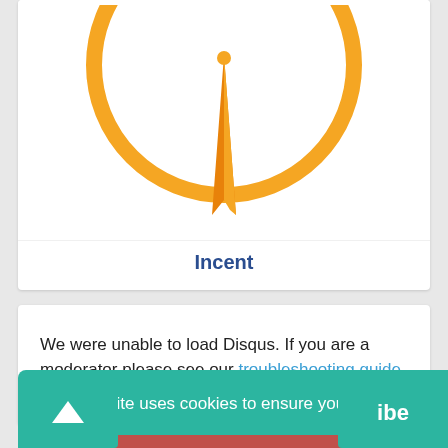[Figure (illustration): Partial compass/navigation icon with orange circle ring and orange pointer/needle pointing downward, on white background]
Incent
We were unable to load Disqus. If you are a moderator please see our troubleshooting guide.
This website uses cookies to ensure you get the best experience on our website.
Got it